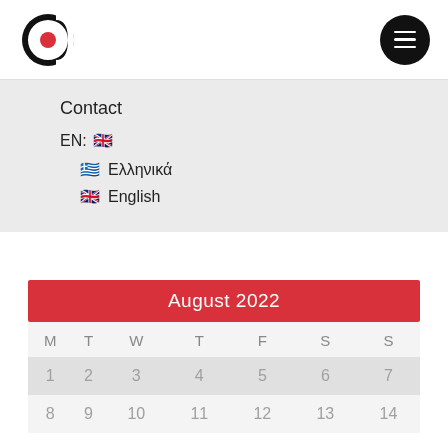[Figure (logo): Circular 'C' logo with red dot in center, black outline]
[Figure (other): Black circular hamburger menu button with three white horizontal lines]
Contact
EN: 🇬🇧
🇬🇷 Ελληνικά
🇬🇧 English
| M | T | W | T | F | S | S |
| --- | --- | --- | --- | --- | --- | --- |
| 1 | 2 | 3 | 4 | 5 | 6 | 7 |
| 8 | 9 | 10 | 11 | 12 | 13 | 14 |